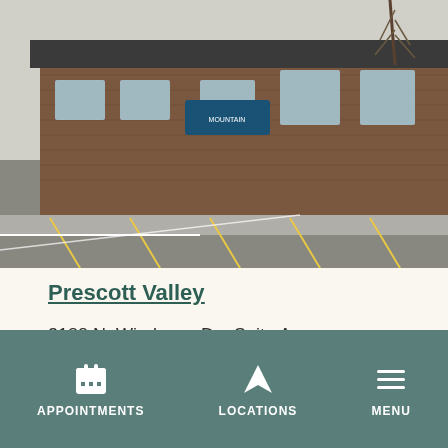[Figure (photo): Exterior photograph of a brick medical office building with a parking lot in the foreground and a blue sign on the building. Trees visible in the background.]
Prescott Valley
3188 N. Windsong Dr., Suite A
Prescott Valley, AZ 86314
VIEW MAP
APPOINTMENTS   LOCATIONS   MENU